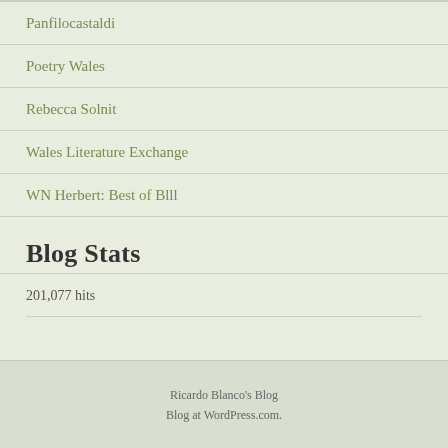Panfilocastaldi
Poetry Wales
Rebecca Solnit
Wales Literature Exchange
WN Herbert: Best of Blll
Blog Stats
201,077 hits
Ricardo Blanco's Blog
Blog at WordPress.com.